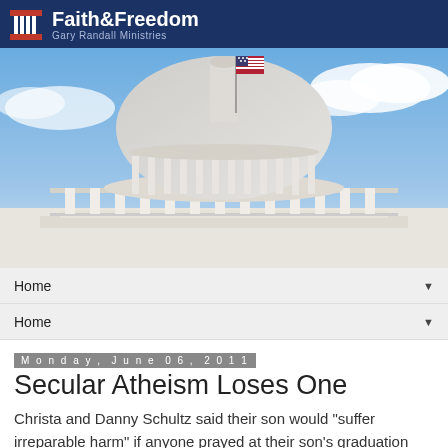Faith&Freedom — Gary Randall Ministries
[Figure (photo): Photo of the US Capitol building dome with an American flag flying, blue sky with clouds in background.]
Home ▼
Home ▼
Monday, June 06, 2011
Secular Atheism Loses One
Christa and Danny Schultz said their son would "suffer irreparable harm" if anyone prayed at their son's graduation ceremony.